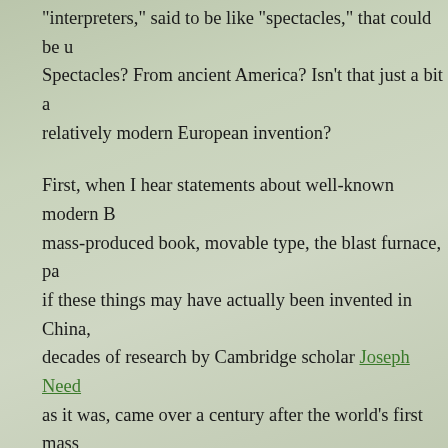"interpreters," said to be like "spectacles," that could be u... Spectacles? From ancient America? Isn't that just a bit a... relatively modern European invention?
First, when I hear statements about well-known modern B... mass-produced book, movable type, the blast furnace, pa... if these things may have actually been invented in China,... decades of research by Cambridge scholar Joseph Need... as it was, came over a century after the world's first mass... the Book of Farming) by Wang Zhen in 1313, an amazing... Industry Hall of Fame in my town of Appleton, Wisconsin.
Eyeglasses can trace their origins to Italy, but China dese... North America. The Inuits used ivory from walruses carve...